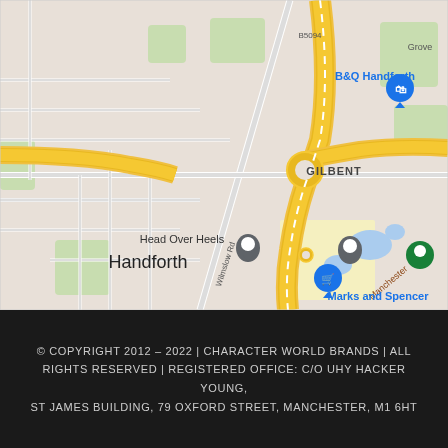[Figure (map): Google Maps screenshot showing Handforth area near Wilmslow, UK. Shows roads including Wilmslow Rd, B5094, Manchester Rd. Points of interest labeled: B&Q Handforth, Head Over Heels, GILBENT, Total Fitness Wilmslow, Marks and Spencer, Handforth. Yellow highway roads visible with roundabout/junction. Green park areas. Blue water features.]
© COPYRIGHT 2012 – 2022 | CHARACTER WORLD BRANDS | ALL RIGHTS RESERVED | REGISTERED OFFICE: C/O UHY HACKER YOUNG, ST JAMES BUILDING, 79 OXFORD STREET, MANCHESTER, M1 6HT